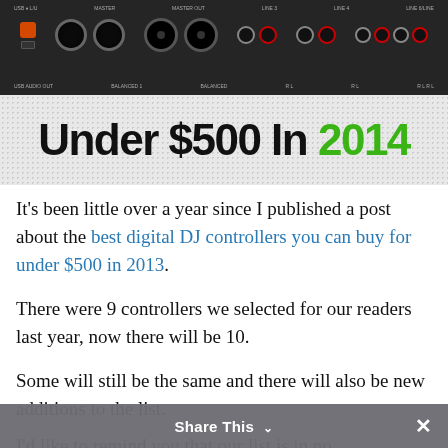[Figure (photo): Photo of the back panel of a DJ mixer/controller, showing XLR ports, RCA connectors, jack inputs, and various audio outputs on a dark panel. Below the photo is a textured banner with bold text reading 'Under $500 In 2014'.]
It's been little over a year since I published a post about the best digital DJ controllers you can buy for under $500 in 2013.
There were 9 controllers we selected for our readers last year, now there will be 10.
Some will still be the same and there will also be new additions to the list.
I'd like to remind you that our list is in no
Share This ×